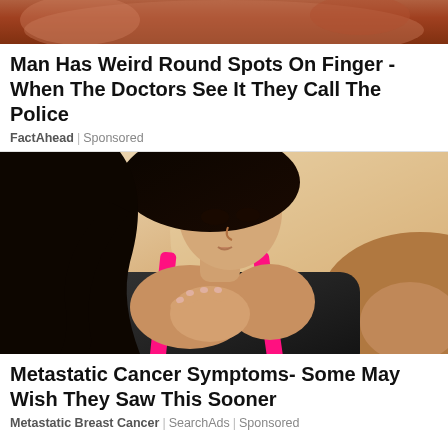[Figure (photo): Partial image of finger/hand with round spots, cropped at top]
Man Has Weird Round Spots On Finger - When The Doctors See It They Call The Police
FactAhead | Sponsored
[Figure (photo): Woman in dark workout top with pink straps, holding her chest in pain, looking downward]
Metastatic Cancer Symptoms- Some May Wish They Saw This Sooner
Metastatic Breast Cancer | SearchAds | Sponsored